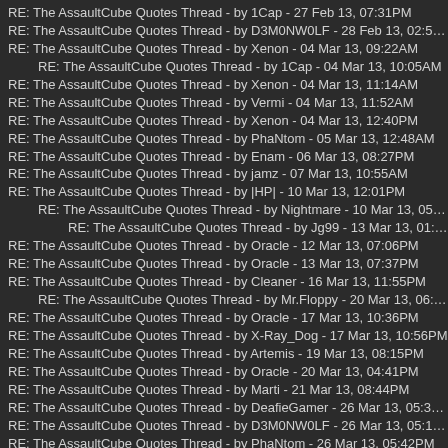RE: The AssaultCube Quotes Thread - by 1Cap - 27 Feb 13, 07:31PM
RE: The AssaultCube Quotes Thread - by D3M0NW0LF - 28 Feb 13, 02:56PM
RE: The AssaultCube Quotes Thread - by Xenon - 04 Mar 13, 09:22AM
RE: The AssaultCube Quotes Thread - by 1Cap - 04 Mar 13, 10:05AM
RE: The AssaultCube Quotes Thread - by Xenon - 04 Mar 13, 11:14AM
RE: The AssaultCube Quotes Thread - by Vermi - 04 Mar 13, 11:52AM
RE: The AssaultCube Quotes Thread - by Xenon - 04 Mar 13, 12:40PM
RE: The AssaultCube Quotes Thread - by PhaNtom - 05 Mar 13, 12:48AM
RE: The AssaultCube Quotes Thread - by Enam - 06 Mar 13, 08:27PM
RE: The AssaultCube Quotes Thread - by jamz - 07 Mar 13, 10:55AM
RE: The AssaultCube Quotes Thread - by |HP| - 10 Mar 13, 12:01PM
RE: The AssaultCube Quotes Thread - by Nightmare - 10 Mar 13, 05:45PM
RE: The AssaultCube Quotes Thread - by Jg99 - 13 Mar 13, 01:42PM
RE: The AssaultCube Quotes Thread - by Oracle - 12 Mar 13, 07:06PM
RE: The AssaultCube Quotes Thread - by Oracle - 13 Mar 13, 07:37PM
RE: The AssaultCube Quotes Thread - by Cleaner - 16 Mar 13, 11:55PM
RE: The AssaultCube Quotes Thread - by Mr.Floppy - 20 Mar 13, 06:17PM
RE: The AssaultCube Quotes Thread - by Oracle - 17 Mar 13, 10:36PM
RE: The AssaultCube Quotes Thread - by X-Ray_Dog - 17 Mar 13, 10:56PM
RE: The AssaultCube Quotes Thread - by Artemis - 19 Mar 13, 08:15PM
RE: The AssaultCube Quotes Thread - by Oracle - 20 Mar 13, 04:41PM
RE: The AssaultCube Quotes Thread - by Marti - 21 Mar 13, 08:44PM
RE: The AssaultCube Quotes Thread - by DeafieGamer - 26 Mar 13, 05:31AM
RE: The AssaultCube Quotes Thread - by D3M0NW0LF - 26 Mar 13, 05:15PM
RE: The AssaultCube Quotes Thread - by PhaNtom - 26 Mar 13, 05:42PM